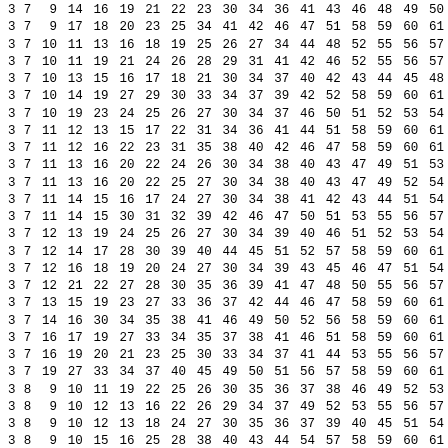| 3 | 7 | 9 | 14 | 16 | 19 | 21 | 22 | 23 | 30 | 34 | 36 | 41 | 43 | 46 | 48 | 49 | 50 |
| 3 | 7 | 9 | 17 | 18 | 20 | 23 | 25 | 34 | 41 | 42 | 46 | 47 | 51 | 58 | 59 | 60 | 61 |
| 3 | 7 | 10 | 11 | 13 | 16 | 18 | 19 | 25 | 26 | 27 | 34 | 44 | 48 | 52 | 55 | 56 | 57 |
| 3 | 7 | 10 | 11 | 19 | 21 | 24 | 26 | 28 | 29 | 31 | 41 | 42 | 46 | 52 | 55 | 56 | 57 |
| 3 | 7 | 10 | 13 | 15 | 16 | 17 | 18 | 21 | 30 | 34 | 37 | 40 | 42 | 43 | 44 | 45 | 48 |
| 3 | 7 | 10 | 14 | 19 | 27 | 29 | 30 | 33 | 34 | 37 | 39 | 42 | 52 | 58 | 59 | 60 | 61 |
| 3 | 7 | 10 | 19 | 23 | 24 | 25 | 26 | 27 | 30 | 34 | 37 | 46 | 50 | 51 | 52 | 53 | 54 |
| 3 | 7 | 11 | 12 | 13 | 15 | 17 | 22 | 31 | 34 | 36 | 41 | 44 | 51 | 58 | 59 | 60 | 61 |
| 3 | 7 | 11 | 12 | 16 | 22 | 23 | 31 | 35 | 38 | 40 | 42 | 46 | 47 | 58 | 59 | 60 | 61 |
| 3 | 7 | 11 | 13 | 16 | 20 | 22 | 24 | 26 | 30 | 34 | 38 | 40 | 43 | 47 | 49 | 51 | 53 |
| 3 | 7 | 11 | 13 | 16 | 20 | 22 | 25 | 27 | 30 | 34 | 38 | 40 | 43 | 47 | 49 | 52 | 54 |
| 3 | 7 | 11 | 14 | 15 | 16 | 17 | 24 | 27 | 30 | 34 | 38 | 41 | 42 | 43 | 44 | 51 | 54 |
| 3 | 7 | 11 | 14 | 15 | 30 | 31 | 32 | 39 | 42 | 46 | 47 | 50 | 51 | 53 | 55 | 56 | 57 |
| 3 | 7 | 12 | 13 | 19 | 24 | 25 | 26 | 27 | 30 | 34 | 39 | 40 | 46 | 51 | 52 | 53 | 54 |
| 3 | 7 | 12 | 14 | 17 | 28 | 30 | 39 | 40 | 44 | 45 | 51 | 52 | 57 | 58 | 59 | 60 | 61 |
| 3 | 7 | 12 | 16 | 18 | 19 | 20 | 24 | 27 | 30 | 34 | 39 | 43 | 45 | 46 | 47 | 51 | 54 |
| 3 | 7 | 12 | 21 | 22 | 27 | 28 | 30 | 35 | 36 | 39 | 41 | 47 | 48 | 50 | 55 | 56 | 57 |
| 3 | 7 | 13 | 15 | 19 | 23 | 27 | 33 | 36 | 37 | 42 | 44 | 46 | 47 | 58 | 59 | 60 | 61 |
| 3 | 7 | 14 | 16 | 30 | 34 | 35 | 38 | 41 | 46 | 49 | 50 | 52 | 56 | 58 | 59 | 60 | 61 |
| 3 | 7 | 16 | 17 | 19 | 27 | 33 | 34 | 35 | 37 | 38 | 41 | 46 | 51 | 58 | 59 | 60 | 61 |
| 3 | 7 | 16 | 19 | 20 | 21 | 23 | 25 | 30 | 33 | 34 | 37 | 41 | 44 | 53 | 55 | 56 | 57 |
| 3 | 7 | 19 | 27 | 33 | 34 | 37 | 40 | 45 | 49 | 50 | 51 | 56 | 57 | 58 | 59 | 60 | 61 |
| 3 | 8 | 9 | 10 | 11 | 19 | 22 | 25 | 26 | 30 | 35 | 36 | 37 | 38 | 46 | 49 | 52 | 53 |
| 3 | 8 | 9 | 10 | 12 | 13 | 16 | 22 | 26 | 29 | 34 | 37 | 49 | 52 | 53 | 55 | 56 | 57 |
| 3 | 8 | 9 | 10 | 12 | 13 | 18 | 24 | 27 | 30 | 35 | 36 | 37 | 39 | 40 | 45 | 51 | 54 |
| 3 | 8 | 9 | 10 | 15 | 16 | 25 | 28 | 38 | 40 | 43 | 44 | 54 | 57 | 58 | 59 | 60 | 61 |
| 3 | 8 | 9 | 11 | 12 | 14 | 17 | 18 | 21 | 30 | 35 | 36 | 38 | 39 | 41 | 44 | 45 | 48 |
| 3 | 8 | 9 | 11 | 14 | 15 | 24 | 30 | 40 | 42 | 44 | 49 | 50 | 51 | 53 | 55 | 56 | 57 |
| 3 | 8 | 9 | 12 | 21 | 28 | 30 | 31 | 32 | 35 | 36 | 46 | 48 | 49 | 50 | 55 | 56 | 57 |
| 3 | 8 | 9 | 15 | 18 | 19 | 20 | 21 | 23 | 30 | 35 | 36 | 42 | 45 | 46 | 47 | 48 | 50 |